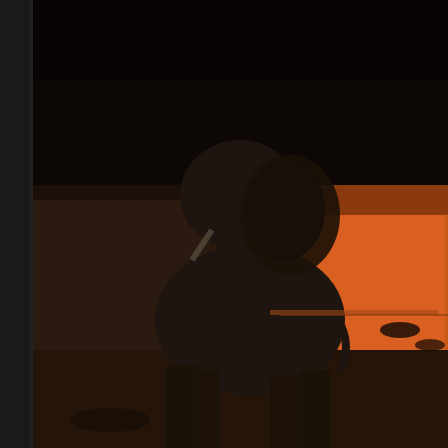[Figure (photo): An elephant standing near a watering hole at sunset. The elephant is silhouetted against an orange and warm sunset sky reflected in the water. The ground is dark brown with scattered scrub vegetation. The scene has a dramatic dark and warm tone.]
Elephant At Sunset HD - Wallpaper
[Figure (screenshot): A dark gray panel area below the photo, part of a UI/app interface.]
[Figure (screenshot): A dark blue-gray bar at the bottom of the interface.]